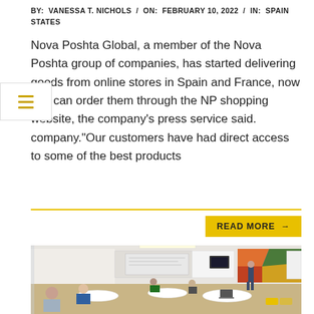BY: VANESSA T. NICHOLS / ON: FEBRUARY 10, 2022 / IN: SPAIN STATES
Nova Poshta Global, a member of the Nova Poshta group of companies, has started delivering goods from online stores in Spain and France, now you can order them through the NP shopping website, the company's press service said. company.“Our customers have had direct access to some of the best products
READ MORE →
[Figure (photo): Classroom scene with students seated at tables and a presenter standing near a whiteboard. The room has colorful artwork on the back wall and fluorescent lighting.]